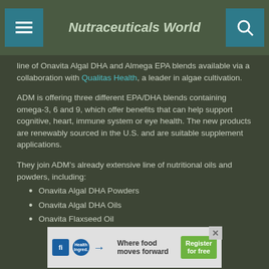Nutraceuticals World
line of Onavita Algal DHA and Almega EPA blends available via a collaboration with Qualitas Health, a leader in algae cultivation.
ADM is offering three different EPA/DHA blends containing omega-3, 6 and 9, which offer benefits that can help support cognitive, heart, immune system or eye health. The new products are renewably sourced in the U.S. and are suitable supplement applications.
They join ADM’s already extensive line of nutritional oils and powders, including:
Onavita Algal DHA Powders
Onavita Algal DHA Oils
Onavita Flaxseed Oil